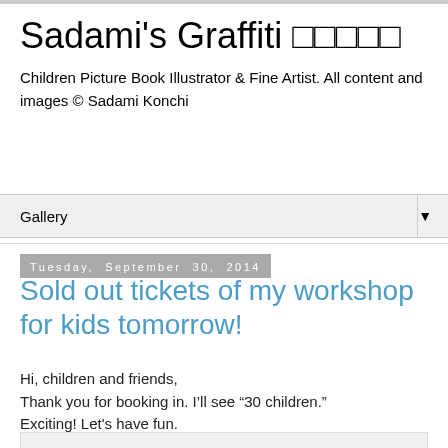Sadami's Graffiti □□□□□
Children Picture Book Illustrator & Fine Artist. All content and images © Sadami Konchi
Gallery ▼
Tuesday, September 30, 2014
Sold out tickets of my workshop for kids tomorrow!
Hi, children and friends,
Thank you for booking in. I’ll see "30 children."
Exciting! Let's have fun.
See you soon!
BTW, we've skipped spring and got into summer?!! It went up to 28 degrees.